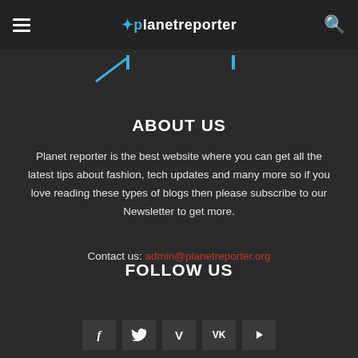planetreporter
ABOUT US
Planet reporter is the best website where you can get all the latest tips about fashion, tech updates and many more so if you love reading these types of blogs then please subscribe to our Newsletter to get more.
Contact us: admin@planetreporter.org
FOLLOW US
[Figure (other): Social media icon buttons: Facebook (f), Twitter (bird), Vimeo (V), VK (VK), YouTube (play)]